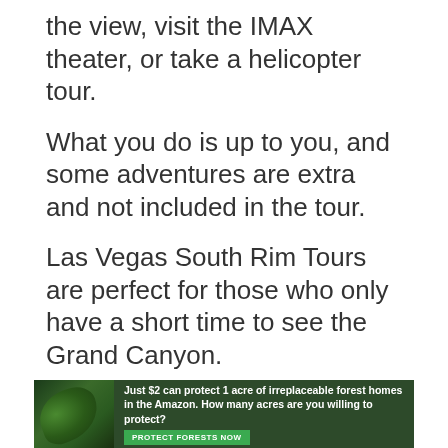the view, visit the IMAX theater, or take a helicopter tour.
What you do is up to you, and some adventures are extra and not included in the tour.
Las Vegas South Rim Tours are perfect for those who only have a short time to see the Grand Canyon.
Find Tours From Las Vegas
[Figure (infographic): Advertisement banner: Just $2 can protect 1 acre of irreplaceable forest homes in the Amazon. How many acres are you willing to protect? PROTECT FORESTS NOW button on green background with forest image.]